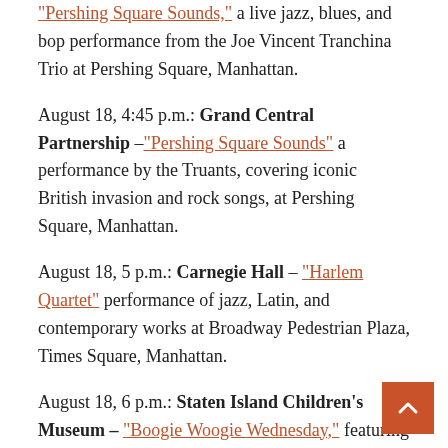"Pershing Square Sounds," a live jazz, blues, and bop performance from the Joe Vincent Tranchina Trio at Pershing Square, Manhattan.
August 18, 4:45 p.m.: Grand Central Partnership –"Pershing Square Sounds" a performance by the Truants, covering iconic British invasion and rock songs, at Pershing Square, Manhattan.
August 18, 5 p.m.: Carnegie Hall – "Harlem Quartet" performance of jazz, Latin, and contemporary works at Broadway Pedestrian Plaza, Times Square, Manhattan.
August 18, 6 p.m.: Staten Island Children's Museum – "Boogie Woogie Wednesday," featuring a family-friendly performance by L'Unicorns, a Latinx LGB group, at 1000 Richmond Terrace, Staten Island.